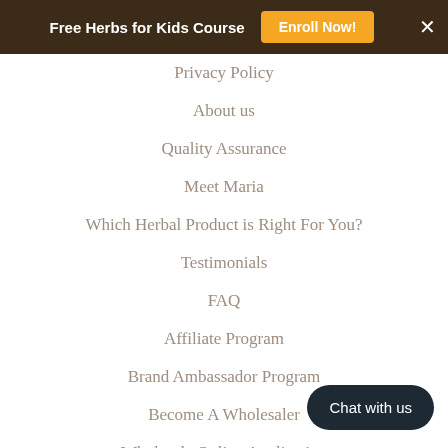Free Herbs for Kids Course  Enroll Now!  ×
Privacy Policy
About us
Quality Assurance
Meet Maria
Which Herbal Product is Right For You?
Testimonials
FAQ
Affiliate Program
Brand Ambassador Program
Become A Wholesaler
Wholesale Online Application
Wholesale Terms & Agreements
Wholesale Login Tutorial
Where to Buy Birth Song Botanicals Products
Chat with us